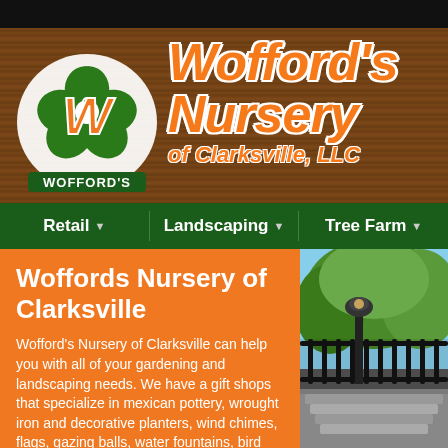[Figure (logo): Wofford's Nursery logo with green clover/flower and orange W, text WOFFORD'S below]
Wofford's Nursery of Clarksville, LLC
Retail | Landscaping | Tree Farm
Woffords Nursery of Clarksville
Wofford's Nursery of Clarksville can help you with all of your gardening and landscaping needs. We have a gift shops that specialize in mexican pottery, wrought iron and decorative planters, wind chimes, flags, gazing balls, water fountains, bird baths, concrete statuary
[Figure (photo): Outdoor photo showing iron fence/railing, stone steps, and green trees]